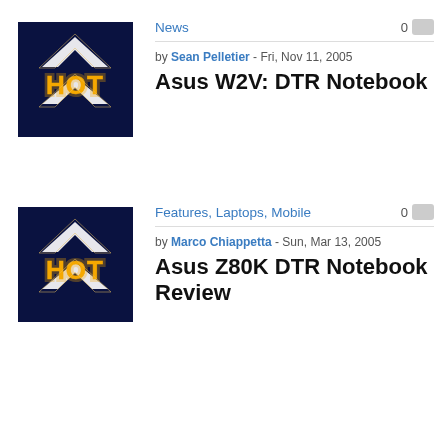News
0
[Figure (illustration): HOT badge logo: dark navy background with silver arrow/chevron shapes and gold 'HOT' text]
by Sean Pelletier - Fri, Nov 11, 2005
Asus W2V: DTR Notebook
Features, Laptops, Mobile
0
[Figure (illustration): HOT badge logo: dark navy background with silver arrow/chevron shapes and gold 'HOT' text]
by Marco Chiappetta - Sun, Mar 13, 2005
Asus Z80K DTR Notebook Review